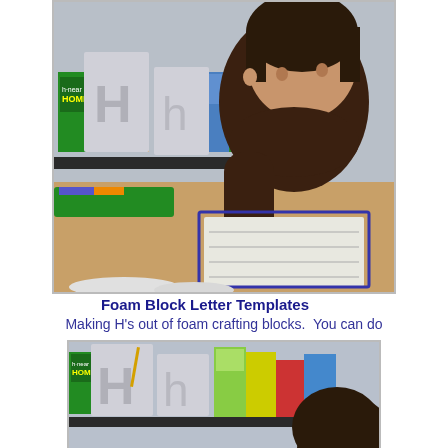[Figure (photo): A young boy with dark hair wearing a brown long-sleeve shirt, writing on a lined worksheet at a table. Behind him on a shelf are foam block letter templates showing H and h, along with books including one titled 'Home'. There are markers and papers on the table.]
Foam Block Letter Templates
Making H's out of foam crafting blocks.  You can do
[Figure (photo): A close-up of the foam block letter templates on a shelf showing H and h letters, with books in the background including one titled 'Home'. The back of a child's head with dark hair is visible on the right side.]